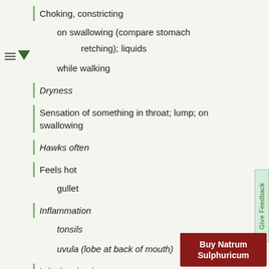Choking, constricting
on swallowing (compare stomach retching); liquids
while walking
Dryness
Sensation of something in throat; lump; on swallowing
Hawks often
Feels hot
gullet
Inflammation
tonsils
uvula (lobe at back of mouth)
Irritation; in air passages